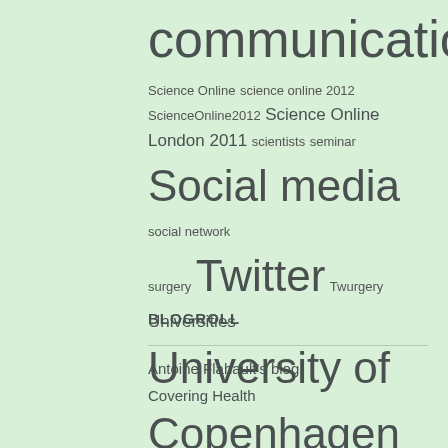[Figure (other): Tag cloud featuring terms related to science communication and social media, including: communication, Science Online, science online 2012, ScienceOnline2012, Science Online London 2011, scientists, seminar, Social media, social network, surgery, Twitter, Twurgery, Universities, University of Copenhagen, videnskab.dk, web2.0, WHO, Wikipedia, Wikiproject medicine, World Health Organization, youtube]
BLOGROLL
Antoine Flahault's blog,
Covering Health